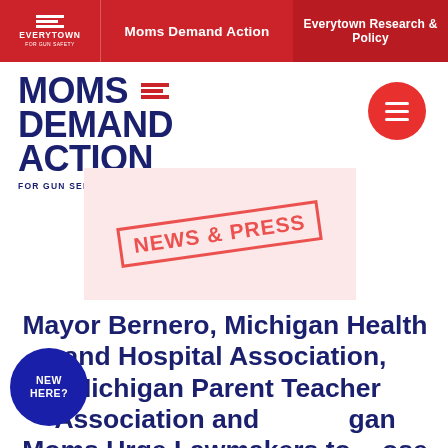Everytown for Gun Safety | Moms Demand Action | Everytown Research & Policy
[Figure (logo): Moms Demand Action for Gun Sense in America logo with hamburger menu button]
[Figure (illustration): News & Press stamp graphic on pink background]
Mayor Bernero, Michigan Health and Hospital Association, Michigan Parent Teacher Association and Michigan Moms Urge Lawmakers to Oppose SB 442, Dangerous “Guns Everywhere” Bill